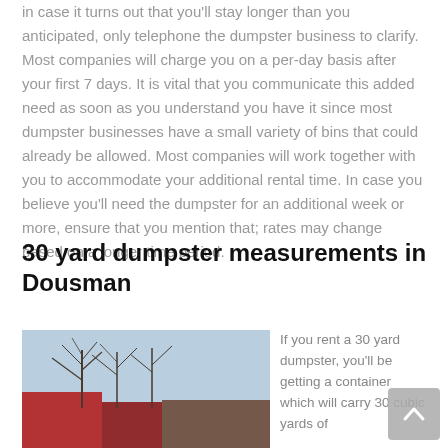in case it turns out that you'll stay longer than you anticipated, only telephone the dumpster business to clarify. Most companies will charge you on a per-day basis after your first 7 days. It is vital that you communicate this added need as soon as you understand you have it since most dumpster businesses have a small variety of bins that could already be allowed. Most companies will work together with you to accommodate your additional rental time. In case you believe you'll need the dumpster for an additional week or more, ensure that you mention that; rates may change based on a longer time period.
30 yard dumpster measurements in Dousman
[Figure (photo): Outdoor photo showing bare winter trees against a light blue sky, with rooftops of buildings visible at the bottom including a prominent red structure.]
If you rent a 30 yard dumpster, you'll be getting a container which will carry 30 cubic yards of